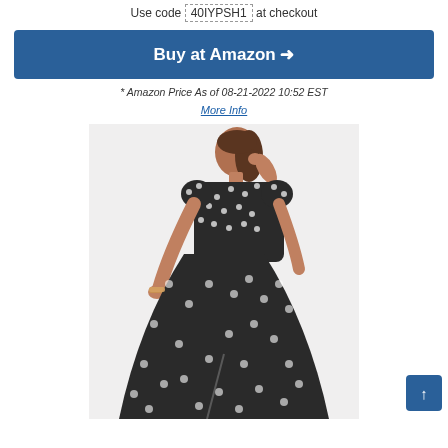Use code 40IYPSH1 at checkout
Buy at Amazon →
* Amazon Price As of 08-21-2022 10:52 EST
More Info
[Figure (photo): Woman wearing a black and white floral/polka dot v-neck short sleeve maxi dress, posing against a white background]